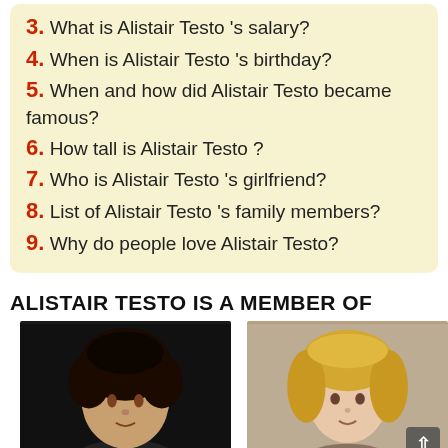3. What is Alistair Testo 's salary?
4. When is Alistair Testo 's birthday?
5. When and how did Alistair Testo became famous?
6. How tall is Alistair Testo ?
7. Who is Alistair Testo 's girlfriend?
8. List of Alistair Testo 's family members?
9. Why do people love Alistair Testo?
ALISTAIR TESTO IS A MEMBER OF
[Figure (photo): Two portrait photos side by side: left shows a person with dark curly hair against dark background, right shows a person with blonde hair against neutral background with a scroll-to-top button overlay.]